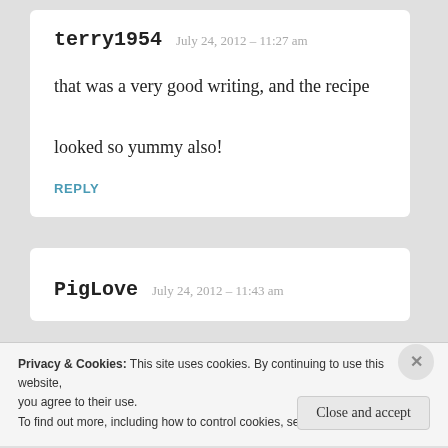terry1954   July 24, 2012 – 11:27 am
that was a very good writing, and the recipe looked so yummy also!
REPLY
PigLove   July 24, 2012 – 11:43 am
Privacy & Cookies: This site uses cookies. By continuing to use this website, you agree to their use.
To find out more, including how to control cookies, see here: Cookie Policy
Close and accept